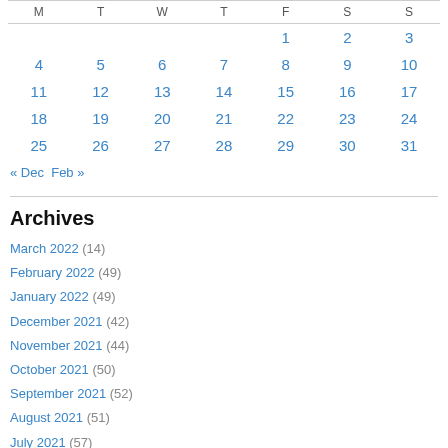| M | T | W | T | F | S | S |
| --- | --- | --- | --- | --- | --- | --- |
|  |  |  |  | 1 | 2 | 3 |
| 4 | 5 | 6 | 7 | 8 | 9 | 10 |
| 11 | 12 | 13 | 14 | 15 | 16 | 17 |
| 18 | 19 | 20 | 21 | 22 | 23 | 24 |
| 25 | 26 | 27 | 28 | 29 | 30 | 31 |
« Dec   Feb »
Archives
March 2022 (14)
February 2022 (49)
January 2022 (49)
December 2021 (42)
November 2021 (44)
October 2021 (50)
September 2021 (52)
August 2021 (51)
July 2021 (57)